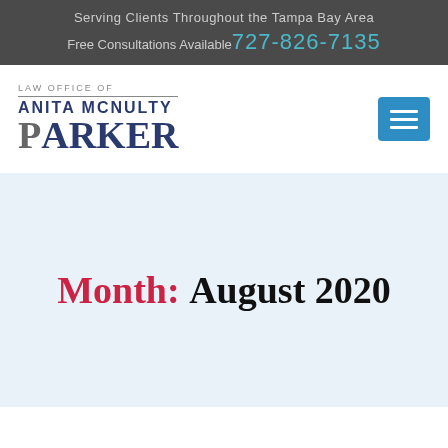Serving Clients Throughout the Tampa Bay Area
Free Consultations Available 727-826-7135
[Figure (logo): Law Office of Anita McNulty Parker logo with text and menu button]
Month: August 2020